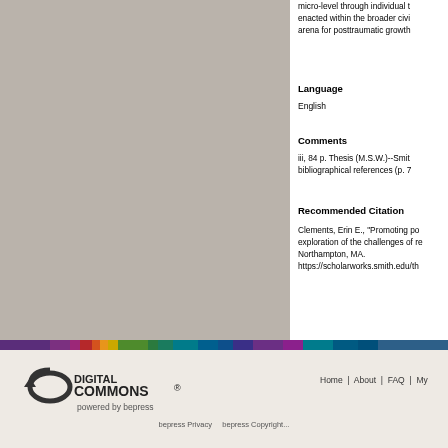micro-level through individual t... enacted within the broader civi... arena for posttraumatic growth
Language
English
Comments
iii, 84 p. Thesis (M.S.W.)--Smit... bibliographical references (p. 7...
Recommended Citation
Clements, Erin E., "Promoting po... exploration of the challenges of re... Northampton, MA. https://scholarworks.smith.edu/th...
[Figure (other): Colored horizontal bar strip with multiple colored segments]
[Figure (logo): Digital Commons powered by bepress logo]
Home | About | FAQ | My...
bepress Privacy   bepress Copyright...